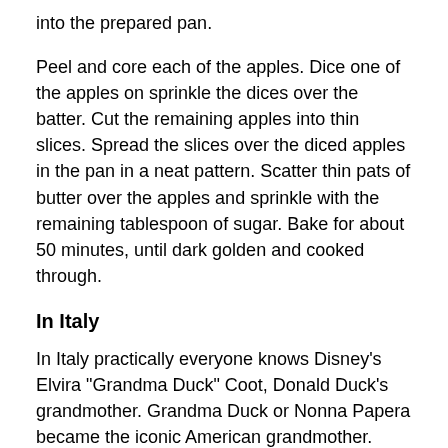into the prepared pan.
Peel and core each of the apples. Dice one of the apples on sprinkle the dices over the batter. Cut the remaining apples into thin slices. Spread the slices over the diced apples in the pan in a neat pattern. Scatter thin pats of butter over the apples and sprinkle with the remaining tablespoon of sugar. Bake for about 50 minutes, until dark golden and cooked through.
In Italy
In Italy practically everyone knows Disney's Elvira "Grandma Duck" Coot, Donald Duck's grandmother. Grandma Duck or Nonna Papera became the iconic American grandmother. She's spry, gets into all sorts of adventures, and yet bakes up beautiful pies. Her pie has taken on an almost mythical status in Italy and is considered quintessentially American.
She was so popular in Italy that a children's cookbook